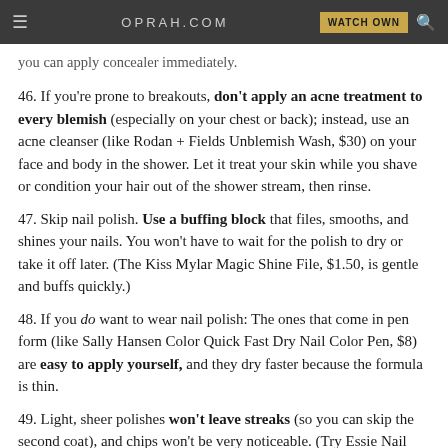OPRAH.COM  WATCH OWN
you can apply concealer immediately.
46. If you're prone to breakouts, don't apply an acne treatment to every blemish (especially on your chest or back); instead, use an acne cleanser (like Rodan + Fields Unblemish Wash, $30) on your face and body in the shower. Let it treat your skin while you shave or condition your hair out of the shower stream, then rinse.
47. Skip nail polish. Use a buffing block that files, smooths, and shines your nails. You won't have to wait for the polish to dry or take it off later. (The Kiss Mylar Magic Shine File, $1.50, is gentle and buffs quickly.)
48. If you do want to wear nail polish: The ones that come in pen form (like Sally Hansen Color Quick Fast Dry Nail Color Pen, $8) are easy to apply yourself, and they dry faster because the formula is thin.
49. Light, sheer polishes won't leave streaks (so you can skip the second coat), and chips won't be very noticeable. (Try Essie Nail Color in Allure, $8.)